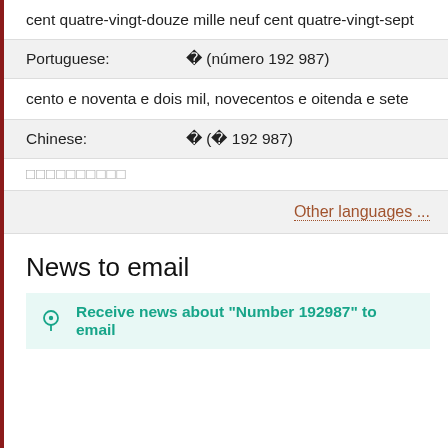cent quatre-vingt-douze mille neuf cent quatre-vingt-sept
| Portuguese: | ￼ (número 192 987) |
| --- | --- |
cento e noventa e dois mil, novecentos e oitenta e sete
| Chinese: | ￼ (￼ 192 987) |
| --- | --- |
￼￼￼￼￼￼￼￼￼￼
Other languages ...
News to email
Receive news about "Number 192987" to email